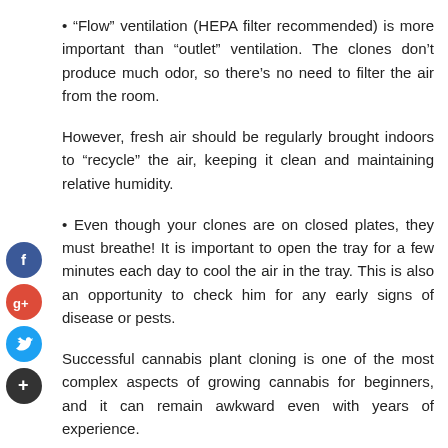• "Flow" ventilation (HEPA filter recommended) is more important than "outlet" ventilation. The clones don't produce much odor, so there's no need to filter the air from the room.
However, fresh air should be regularly brought indoors to "recycle" the air, keeping it clean and maintaining relative humidity.
• Even though your clones are on closed plates, they must breathe! It is important to open the tray for a few minutes each day to cool the air in the tray. This is also an opportunity to check him for any early signs of disease or pests.
Successful cannabis plant cloning is one of the most complex aspects of growing cannabis for beginners, and it can remain awkward even with years of experience.